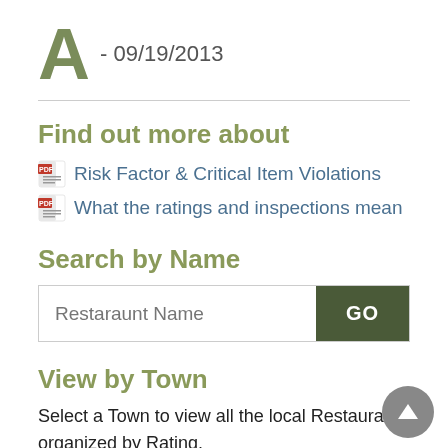A - 09/19/2013
Find out more about
Risk Factor & Critical Item Violations
What the ratings and inspections mean
Search by Name
Restaraunt Name [input field] GO [button]
View by Town
Select a Town to view all the local Restaurants organized by Rating.